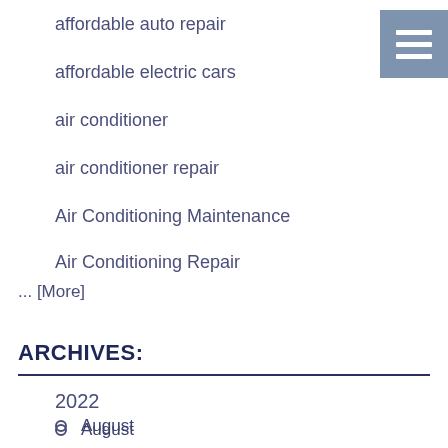affordable auto repair
affordable electric cars
air conditioner
air conditioner repair
Air Conditioning Maintenance
Air Conditioning Repair
... [More]
ARCHIVES:
2022
August
July
June